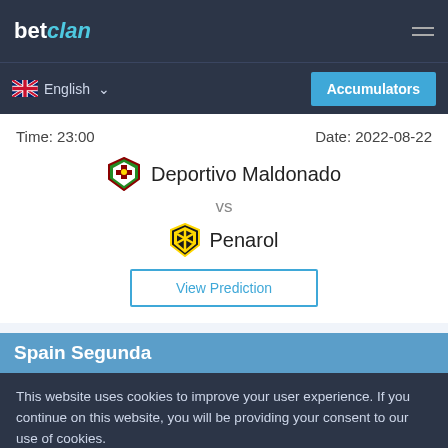betclan
English  Accumulators
Time: 23:00   Date: 2022-08-22
Deportivo Maldonado vs Penarol
View Prediction
Spain Segunda
This website uses cookies to improve your user experience. If you continue on this website, you will be providing your consent to our use of cookies.
Info   Accept